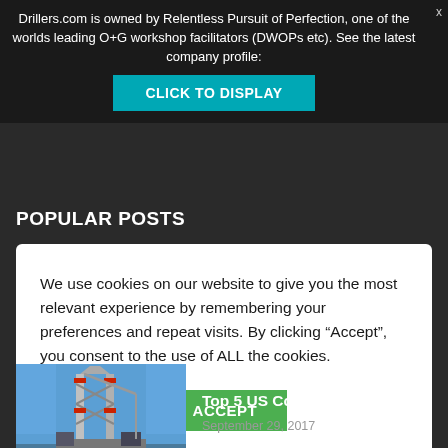Drillers.com is owned by Relentless Pursuit of Perfection, one of the worlds leading O+G workshop facilitators (DWOPs etc). See the latest company profile:
CLICK TO DISPLAY
POPULAR POSTS
We use cookies on our website to give you the most relevant experience by remembering your preferences and repeat visits. By clicking “Accept”, you consent to the use of ALL the cookies.
Cookie settings   ACCEPT
[Figure (photo): Photograph of a drilling rig with red and blue industrial structure against a blue sky]
Drilling Rig Companies – The Top 5 US Contractors
September 29, 2017